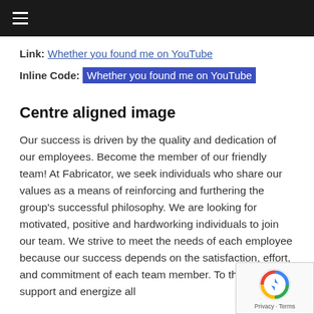☰ (hamburger menu icon)
Link: Whether you found me on YouTube
Inline Code: Whether you found me on YouTube
Centre aligned image
Our success is driven by the quality and dedication of our employees. Become the member of our friendly team! At Fabricator, we seek individuals who share our values as a means of reinforcing and furthering the group's successful philosophy. We are looking for motivated, positive and hardworking individuals to join our team. We strive to meet the needs of each employee because our success depends on the satisfaction, effort, and commitment of each team member. To this end, we support and energize all